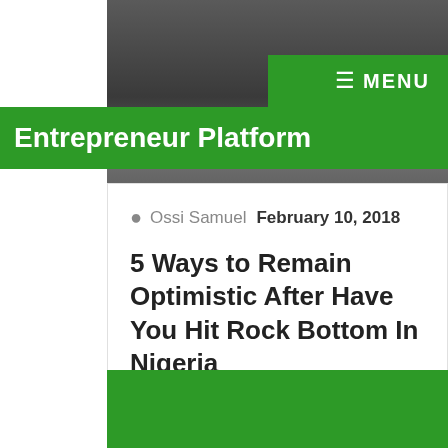[Figure (photo): Person with hands on head in distress, wearing grey suit, dark background]
≡ MENU
Entrepreneur Platform
Ossi Samuel  February 10, 2018
5 Ways to Remain Optimistic After Have You Hit Rock Bottom In Nigeria
[Figure (other): Green rectangle block at bottom of page]